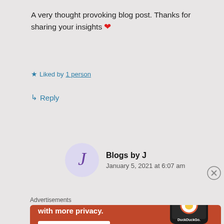A very thought provoking blog post. Thanks for sharing your insights ❤
★ Liked by 1 person
↳ Reply
Blogs by J — January 5, 2021 at 6:07 am
Advertisements
[Figure (screenshot): DuckDuckGo advertisement banner with orange background. Text reads: Search, browse, and email with more privacy. All in One Free App. Shows a phone with DuckDuckGo logo.]